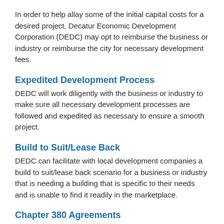In order to help allay some of the initial capital costs for a desired project, Decatur Economic Development Corporation (DEDC) may opt to reimburse the business or industry or reimburse the city for necessary development fees.
Expedited Development Process
DEDC will work diligently with the business or industry to make sure all necessary development processes are followed and expedited as necessary to ensure a smooth project.
Build to Suit/Lease Back
DEDC can facilitate with local development companies a build to suit/lease back scenario for a business or industry that is needing a building that is specific to their needs and is unable to find it readily in the marketplace.
Chapter 380 Agreements
Chapter 380 is a reference to chapter 380 of the Texas Local Government Code. This chapter of the Texas Local Government Code authorizes Texas municipalities, both home-rule and